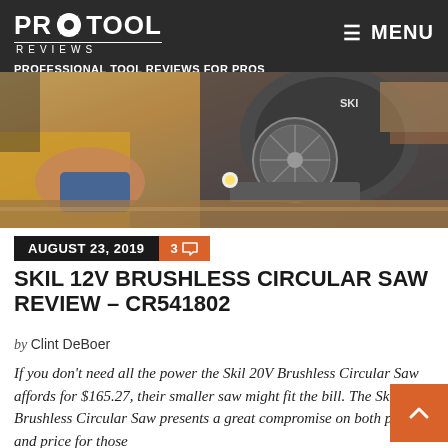PRO TOOL REVIEWS — PROFESSIONAL TOOL REVIEWS FOR PROS
[Figure (photo): Person using a SKIL circular saw on wood boards, action shot with spark/light visible]
AUGUST 23, 2019   3 comments
SKIL 12V BRUSHLESS CIRCULAR SAW REVIEW – CR541802
by Clint DeBoer
If you don't need all the power the Skil 20V Brushless Circular Saw affords for $165.27, their smaller saw might fit the bill. The Skil 12V Brushless Circular Saw presents a great compromise on both power and price for those